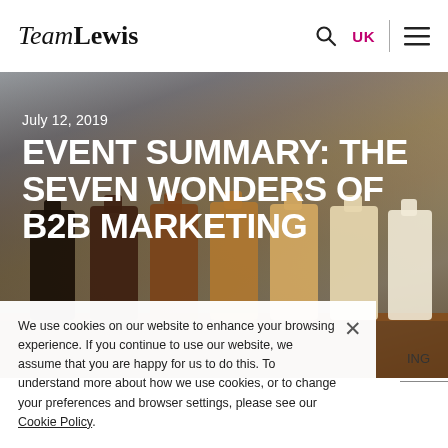TeamLewis — UK
[Figure (photo): Hero image of a row of cosmetic/drink bottles ranging from dark brown to light cream arranged on a wooden surface, with blurred background. Overlaid with date and headline text.]
July 12, 2019
EVENT SUMMARY: THE SEVEN WONDERS OF B2B MARKETING
We use cookies on our website to enhance your browsing experience. If you continue to use our website, we assume that you are happy for us to do this. To understand more about how we use cookies, or to change your preferences and browser settings, please see our Cookie Policy.